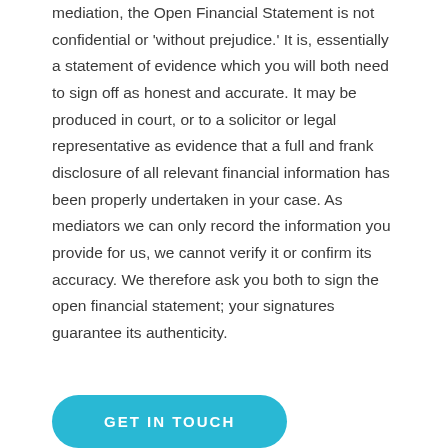mediation, the Open Financial Statement is not confidential or 'without prejudice.' It is, essentially a statement of evidence which you will both need to sign off as honest and accurate. It may be produced in court, or to a solicitor or legal representative as evidence that a full and frank disclosure of all relevant financial information has been properly undertaken in your case. As mediators we can only record the information you provide for us, we cannot verify it or confirm its accuracy. We therefore ask you both to sign the open financial statement; your signatures guarantee its authenticity.
[Figure (other): A teal/cyan rounded button with white uppercase text reading 'GET IN TOUCH']